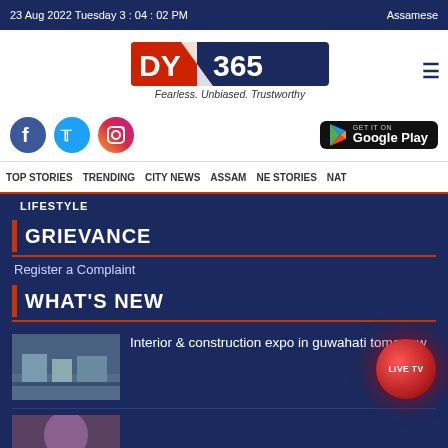23 Aug 2022 Tuesday 3 : 04 : 02 PM | Assamese
[Figure (logo): DY365 logo with tagline Fearless. Unbiased. Trustworthy]
[Figure (infographic): Social media icons (Facebook, Twitter, Instagram) and Google Play badge]
TOP STORIES  TRENDING  CITY NEWS  ASSAM  NE STORIES  NAT
LIFESTYLE
GRIEVANCE
Register a Complaint
WHAT'S NEW
Interior & construction expo in guwahati tomorrow
[Figure (photo): Thumbnail image of interior/construction expo]
[Figure (photo): Thumbnail image of second news story]